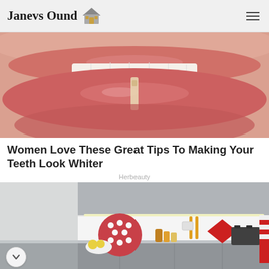Janevs Ound 🏠
[Figure (photo): Close-up photo of lips and teeth, with a lipstick or gloss applicator visible between the lips]
Women Love These Great Tips To Making Your Teeth Look Whiter
Herbeauty
[Figure (photo): Modern kitchen interior with gray cabinets, white backsplash, and colorful kitchen accessories including a red diamond shape, polka dot plate, and small appliances]
[Figure (photo): Advertisement: Woman on beach. Sand Dollar UK. Use Promo Code: WANTITGETIT10. Let's Make This Official - Use Promo Code: WANTITGETIT10 For 10% Off Your Entire Cart. Shop Now button.]